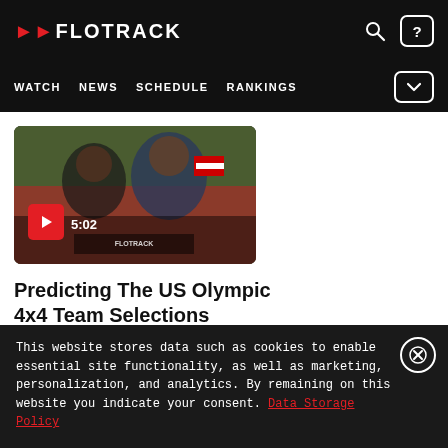[Figure (logo): FloTrack logo with red chevron arrow and white text on black background]
WATCH  NEWS  SCHEDULE  RANKINGS
[Figure (screenshot): Video thumbnail showing two athletes celebrating with US flag, play button overlay showing duration 5:02]
Predicting The US Olympic 4x4 Team Selections
Jun 21, 2021
This website stores data such as cookies to enable essential site functionality, as well as marketing, personalization, and analytics. By remaining on this website you indicate your consent. Data Storage Policy